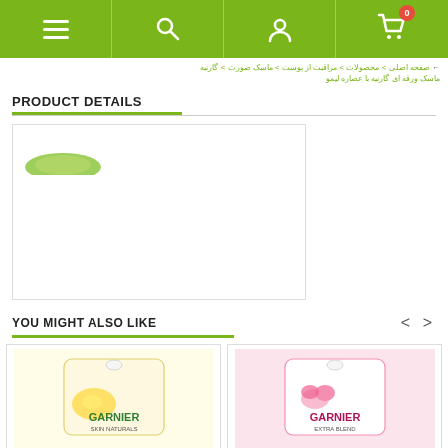Navigation bar with menu, search, user, and cart icons
Arabic breadcrumb navigation text
PRODUCT DETAILS
[Figure (photo): Product image box showing a small green Garnier logo element on white background]
YOU MIGHT ALSO LIKE
[Figure (photo): Garnier product card – lemon/white packaging]
[Figure (photo): Garnier product card – pink/rose packaging]